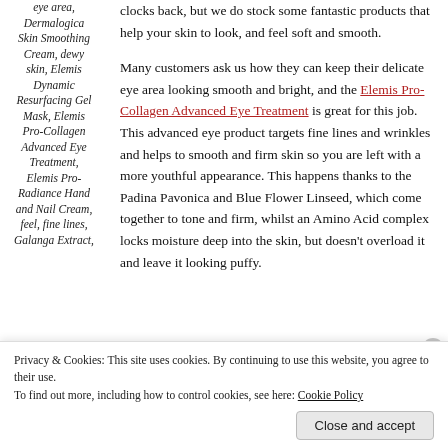eye area, Dermalogica Skin Smoothing Cream, dewy skin, Elemis Dynamic Resurfacing Gel Mask, Elemis Pro-Collagen Advanced Eye Treatment, Elemis Pro-Radiance Hand and Nail Cream, feel, fine lines, Galanga Extract,
clocks back, but we do stock some fantastic products that help your skin to look, and feel soft and smooth.

Many customers ask us how they can keep their delicate eye area looking smooth and bright, and the Elemis Pro-Collagen Advanced Eye Treatment is great for this job. This advanced eye product targets fine lines and wrinkles and helps to smooth and firm skin so you are left with a more youthful appearance. This happens thanks to the Padina Pavonica and Blue Flower Linseed, which come together to tone and firm, whilst an Amino Acid complex locks moisture deep into the skin, but doesn't overload it and leave it looking puffy.
Privacy & Cookies: This site uses cookies. By continuing to use this website, you agree to their use.
To find out more, including how to control cookies, see here: Cookie Policy
Close and accept